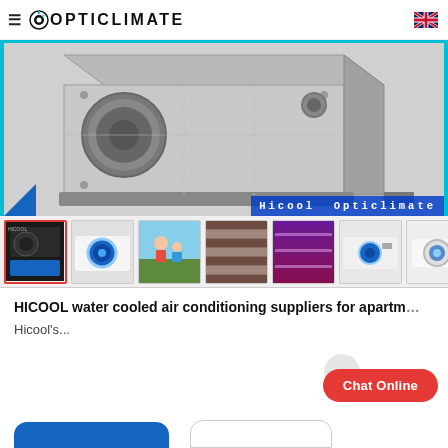≡ OPTICLIMATE
[Figure (photo): HICOOL/Opticlimate water-cooled air conditioning unit, grey metal hardware, shown from an angle. Blue border frame. Watermark text: Hicool Opticlimate]
[Figure (photo): Thumbnail strip of 7 product/context images: black HVAC unit, white unit with blue circle, children outdoors, wooden slat wall, purple grow-light room, white machine, white round unit]
HICOOL water cooled air conditioning suppliers for apartm…
Hicool's...
Chat Online